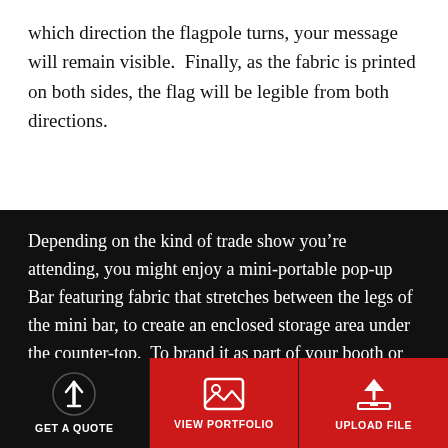which direction the flagpole turns, your message will remain visible.  Finally, as the fabric is printed on both sides, the flag will be legible from both directions.
Depending on the kind of trade show you’re attending, you might enjoy a mini-portable pop-up Bar featuring fabric that stretches between the legs of the mini bar, to create an enclosed storage area under the counter-top.  To brand it as part of your booth or exhibit, simply attach graphic panels to the fabric sides and front.  For easy transportation, but the whole thing on wheels.
GET A QUOTE   VIEW PORTFOLIO   UPLOAD FILE